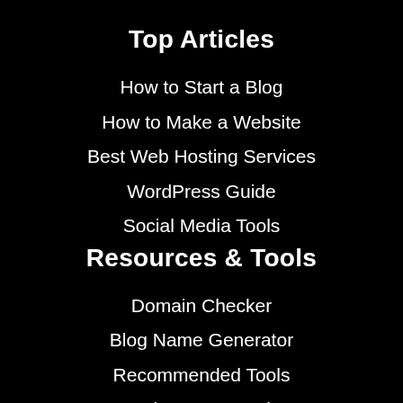Top Articles
How to Start a Blog
How to Make a Website
Best Web Hosting Services
WordPress Guide
Social Media Tools
Resources & Tools
Domain Checker
Blog Name Generator
Recommended Tools
Free Pinterest Templates